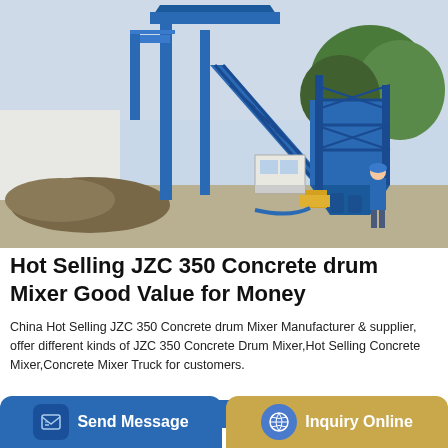[Figure (photo): A large blue concrete batching plant / concrete drum mixer industrial machine in an outdoor yard, with a worker in a blue shirt standing nearby. Green trees and sky visible in the background.]
Hot Selling JZC 350 Concrete drum Mixer Good Value for Money
China Hot Selling JZC 350 Concrete drum Mixer Manufacturer & supplier, offer different kinds of JZC 350 Concrete Drum Mixer,Hot Selling Concrete Mixer,Concrete Mixer Truck for customers.
GET A QUOTE
Send Message
Inquiry Online